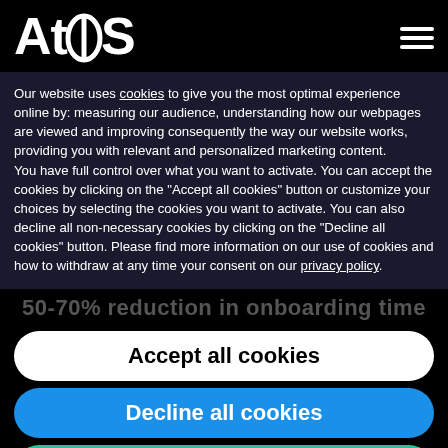[Figure (logo): Atos company logo in white text on black background, with hamburger menu icon top right]
Our website uses cookies to give you the most optimal experience online by: measuring our audience, understanding how our webpages are viewed and improving consequently the way our website works, providing you with relevant and personalized marketing content. You have full control over what you want to activate. You can accept the cookies by clicking on the "Accept all cookies" button or customize your choices by selecting the cookies you want to activate. You can also decline all non-necessary cookies by clicking on the "Decline all cookies" button. Please find more information on our use of cookies and how to withdraw at any time your consent on our privacy policy.
50-70% reduction in onboarding time
Accept all cookies
Decline all cookies
Customize
Privacy policy
experience based on trust